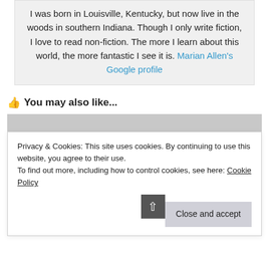I was born in Louisville, Kentucky, but now live in the woods in southern Indiana. Though I only write fiction, I love to read non-fiction. The more I learn about this world, the more fantastic I see it is. Marian Allen's Google profile
👍 You may also like...
[Figure (photo): Gray placeholder image with a camera icon in the center]
Privacy & Cookies: This site uses cookies. By continuing to use this website, you agree to their use.
To find out more, including how to control cookies, see here: Cookie Policy